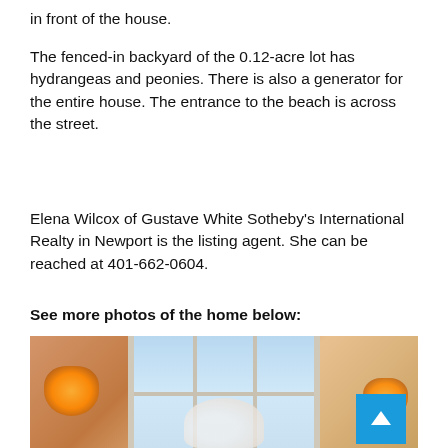in front of the house.
The fenced-in backyard of the 0.12-acre lot has hydrangeas and peonies. There is also a generator for the entire house. The entrance to the beach is across the street.
Elena Wilcox of Gustave White Sotheby’s International Realty in Newport is the listing agent. She can be reached at 401-662-0604.
See more photos of the home below:
[Figure (photo): Interior room photo showing two wall sconces, a large multi-pane window with blue sky view, and flowers in the foreground. A blue scroll-to-top button is in the lower right.]